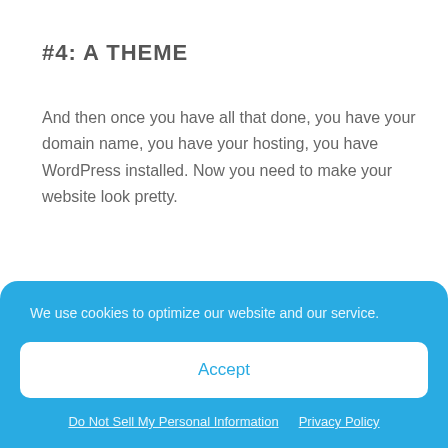#4: A THEME
And then once you have all that done, you have your domain name, you have your hosting, you have WordPress installed. Now you need to make your website look pretty.
So before you have a theme, all you really have is like the engine and the framework of a car, but you don't have the design of it. So to set up the design, you need to install
We use cookies to optimize our website and our service.
Accept
Do Not Sell My Personal Information
Privacy Policy